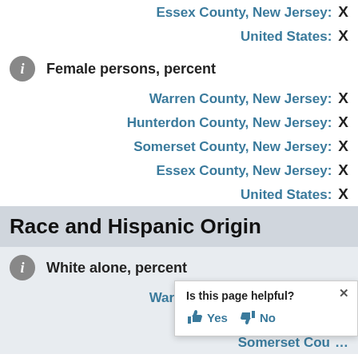Essex County, New Jersey: X
United States: X
Female persons, percent
Warren County, New Jersey: X
Hunterdon County, New Jersey: X
Somerset County, New Jersey: X
Essex County, New Jersey: X
United States: X
Race and Hispanic Origin
White alone, percent
Warren County, New Jersey: X
Hunterdon County, New Jersey: X (partially obscured)
Somerset County, New Jersey: X (partially obscured)